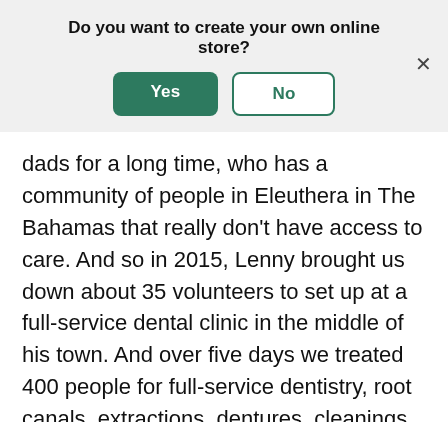Do you want to create your own online store?
Yes
No
dads for a long time, who has a community of people in Eleuthera in The Bahamas that really don't have access to care. And so in 2015, Lenny brought us down about 35 volunteers to set up at a full-service dental clinic in the middle of his town. And over five days we treated 400 people for full-service dentistry, root canals, extractions, dentures, cleanings, whitenings, education. It was an incredibly moving and life-changing experience. I'm one of the lucky ones who has never needed to have braces or have any medical issues as it relates